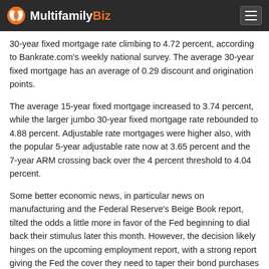MultifamilyBiz
30-year fixed mortgage rate climbing to 4.72 percent, according to Bankrate.com's weekly national survey. The average 30-year fixed mortgage has an average of 0.29 discount and origination points.
The average 15-year fixed mortgage increased to 3.74 percent, while the larger jumbo 30-year fixed mortgage rate rebounded to 4.88 percent. Adjustable rate mortgages were higher also, with the popular 5-year adjustable rate now at 3.65 percent and the 7-year ARM crossing back over the 4 percent threshold to 4.04 percent.
Some better economic news, in particular news on manufacturing and the Federal Reserve's Beige Book report, tilted the odds a little more in favor of the Fed beginning to dial back their stimulus later this month. However, the decision likely hinges on the upcoming employment report, with a strong report giving the Fed the cover they need to taper their bond purchases despite the looming debt ceiling and government budget debates.